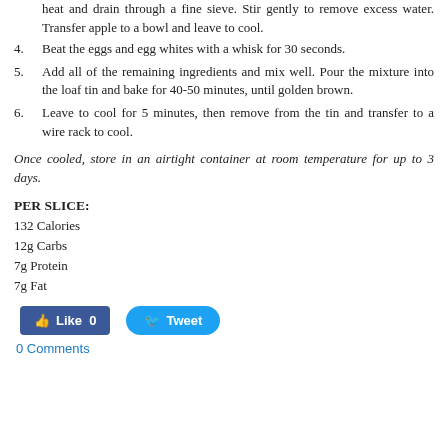heat and drain through a fine sieve. Stir gently to remove excess water. Transfer apple to a bowl and leave to cool.
4. Beat the eggs and egg whites with a whisk for 30 seconds.
5. Add all of the remaining ingredients and mix well. Pour the mixture into the loaf tin and bake for 40-50 minutes, until golden brown.
6. Leave to cool for 5 minutes, then remove from the tin and transfer to a wire rack to cool.
Once cooled, store in an airtight container at room temperature for up to 3 days.
PER SLICE:
132 Calories
12g Carbs
7g Protein
7g Fat
[Figure (other): Social media buttons: Facebook Like (0) and Twitter Tweet]
0 Comments